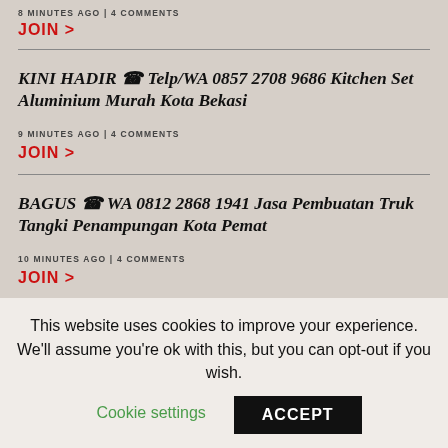8 MINUTES AGO | 4 COMMENTS
JOIN >
KINI HADIR ☎ Telp/WA 0857 2708 9686 Kitchen Set Aluminium Murah Kota Bekasi
9 MINUTES AGO | 4 COMMENTS
JOIN >
BAGUS ☎ WA 0812 2868 1941 Jasa Pembuatan Truk Tangki Penampungan Kota Pemat
10 MINUTES AGO | 4 COMMENTS
JOIN >
This website uses cookies to improve your experience. We'll assume you're ok with this, but you can opt-out if you wish.
Cookie settings
ACCEPT